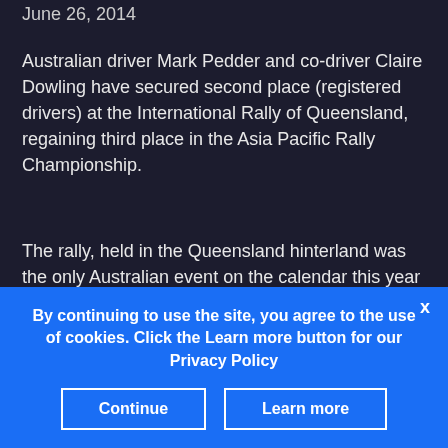June 26, 2014
Australian driver Mark Pedder and co-driver Claire Dowling have secured second place (registered drivers) at the International Rally of Queensland, regaining third place in the Asia Pacific Rally Championship.
The rally, held in the Queensland hinterland was the only Australian event on the calendar this year and one that the crew has contested many times before. “It would be foolish to assume that we would have a home advantage just because we
By continuing to use the site, you agree to the use of cookies. Click the Learn more button for our Privacy Policy
Continue
Learn more